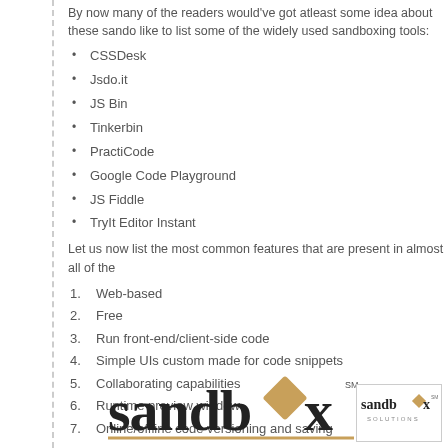By now many of the readers would've got atleast some idea about these sandboxing tools. I would like to list some of the widely used sandboxing tools:
CSSDesk
Jsdo.it
JS Bin
Tinkerbin
PractiCode
Google Code Playground
JS Fiddle
TryIt Editor Instant
Let us now list the most common features that are present in almost all of the
Web-based
Free
Run front-end/client-side code
Simple UIs custom made for code snippets
Collaborating capabilities
Runtime preview window
Online/offline code versioning and saving
[Figure (logo): sandbox logo (large wordmark with diamond 'o') and sandbox SOLUTIONS logo in a small box]